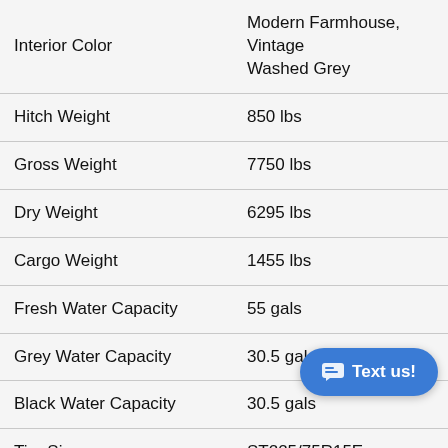| Specification | Value |
| --- | --- |
| Interior Color | Modern Farmhouse, Vintage Washed Grey |
| Hitch Weight | 850 lbs |
| Gross Weight | 7750 lbs |
| Dry Weight | 6295 lbs |
| Cargo Weight | 1455 lbs |
| Fresh Water Capacity | 55 gals |
| Grey Water Capacity | 30.5 gals |
| Black Water Capacity | 30.5 gals |
| Tire Size | ST225/75R15E |
| Number Of Bunks | 2 |
| Available Beds | M… |
| Refrigerator Type | G… |
| Refrigerator Size | 8 cu ft |